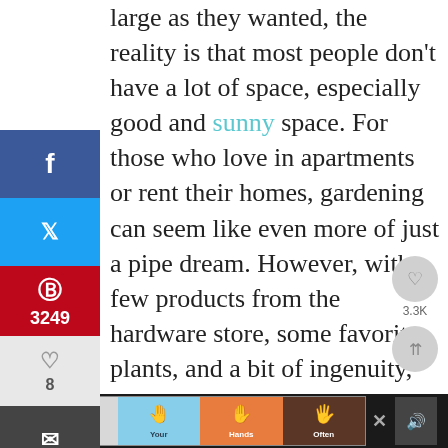large as they wanted, the reality is that most people don't have a lot of space, especially good and sunny space. For those who love in apartments or rent their homes, gardening can seem like even more of just a pipe dream. However, with a few products from the hardware store, some favorite plants, and a bit of ingenuity, anyone can turn even the smallest square footage into a vertical dream garden.
[Figure (screenshot): Social media sharing sidebar with Facebook, Twitter, Pinterest (3249), heart/like (8), and email buttons. Share count 3249 and SHARES label shown at bottom. Right side shows circular share/heart action buttons with 3.3K count.]
[Figure (screenshot): Advertisement banner at bottom showing colorful hand-washing promotion with hand icons and text: Wash Your Hands Often]